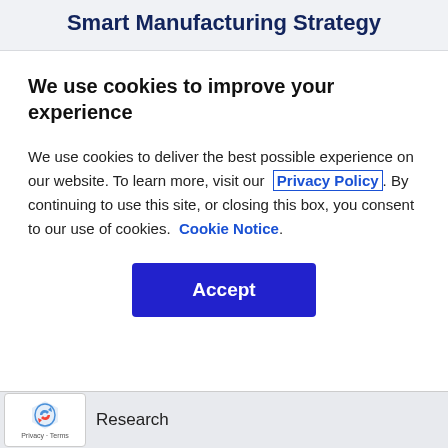Smart Manufacturing Strategy
We use cookies to improve your experience
We use cookies to deliver the best possible experience on our website. To learn more, visit our  Privacy Policy. By continuing to use this site, or closing this box, you consent to our use of cookies.  Cookie Notice.
[Figure (other): Accept button - dark blue rounded rectangle button with white bold text 'Accept']
[Figure (other): reCAPTCHA badge with logo and Privacy - Terms text]
Research